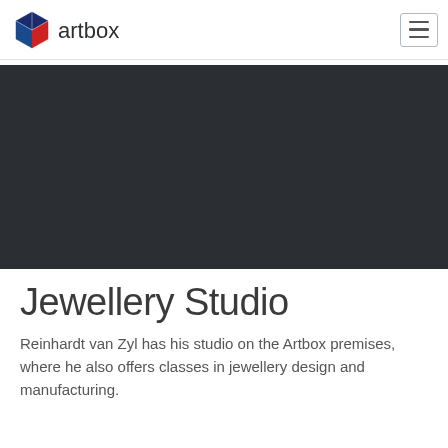artbox
[Figure (photo): Dark hero image area, nearly black background representing a jewellery studio photo]
Jewellery Studio
Reinhardt van Zyl has his studio on the Artbox premises, where he also offers classes in jewellery design and manufacturing.